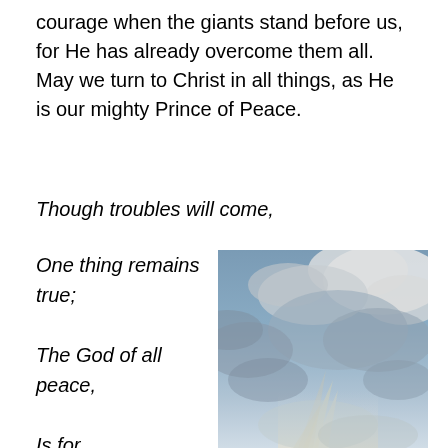courage when the giants stand before us, for He has already overcome them all. May we turn to Christ in all things, as He is our mighty Prince of Peace.
Though troubles will come,
One thing remains true;

The God of all peace,

Is for
[Figure (photo): A photograph of a sky with dramatic blue-grey clouds and rays of light breaking through the clouds.]